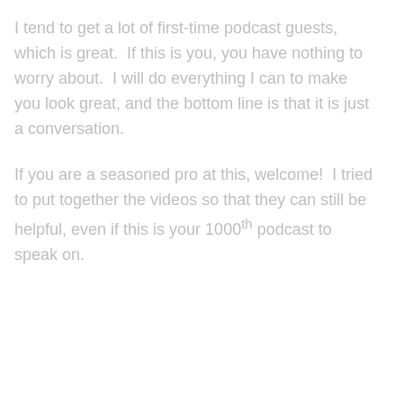I tend to get a lot of first-time podcast guests, which is great.  If this is you, you have nothing to worry about.  I will do everything I can to make you look great, and the bottom line is that it is just a conversation.
If you are a seasoned pro at this, welcome!  I tried to put together the videos so that they can still be helpful, even if this is your 1000th podcast to speak on.